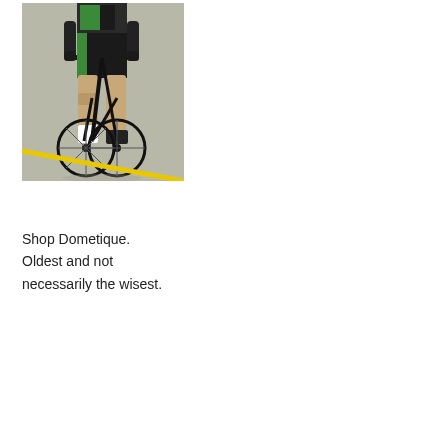[Figure (photo): A cyclist riding a road bike on a concrete surface. The cyclist wears a green and black jersey and shorts. There is a yellow diagonal line painted on the ground. The photo is cropped to show the lower body and bike.]
Shop Dometique. Oldest and not necessarily the wisest.